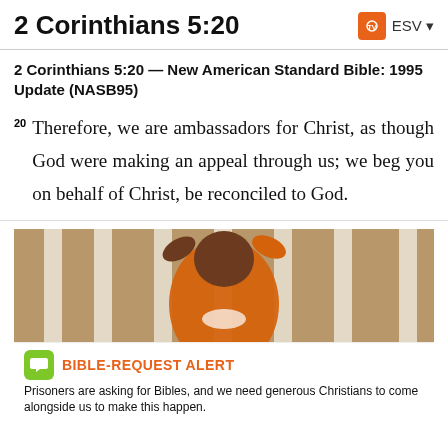2 Corinthians 5:20   ESV
2 Corinthians 5:20 — New American Standard Bible: 1995 Update (NASB95)
20 Therefore, we are ambassadors for Christ, as though God were making an appeal through us; we beg you on behalf of Christ, be reconciled to God.
[Figure (photo): A person wearing an orange prison jumpsuit gripping white jail bars, photographed from outside the cell. An overlay at the bottom shows a Bible-request alert with a green speech bubble icon, orange bold text reading 'BIBLE-REQUEST ALERT', and body text: 'Prisoners are asking for Bibles, and we need generous Christians to come alongside us to make this happen.']